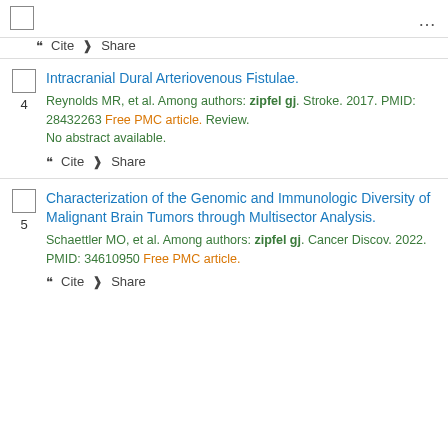[Figure (other): Checkbox (empty) in top-left corner]
... (three dots menu icon)
" Cite < Share
Intracranial Dural Arteriovenous Fistulae.
Reynolds MR, et al. Among authors: zipfel gj. Stroke. 2017. PMID: 28432263 Free PMC article. Review. No abstract available.
" Cite < Share
Characterization of the Genomic and Immunologic Diversity of Malignant Brain Tumors through Multisector Analysis.
Schaettler MO, et al. Among authors: zipfel gj. Cancer Discov. 2022. PMID: 34610950 Free PMC article.
" Cite < Share